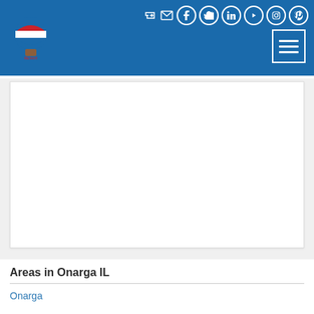[Figure (logo): RE/MAX logo with hot air balloon in blue, red and white colors]
[Figure (infographic): Navigation header with social media icons (login, email, Facebook, Twitter, LinkedIn, YouTube, Instagram, Pinterest) and hamburger menu button on blue background]
[Figure (screenshot): White content box area (map or listing placeholder) on a light gray background]
Areas in Onarga IL
Onarga